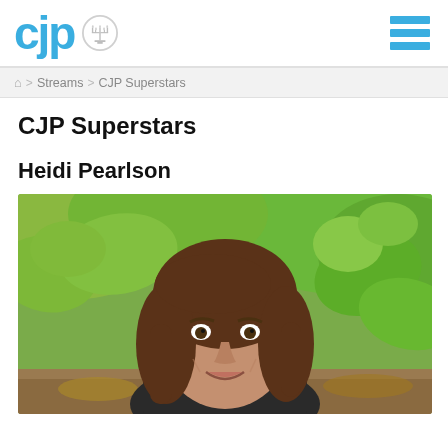CJP (logo) | hamburger menu
Home > Streams > CJP Superstars
CJP Superstars
Heidi Pearlson
[Figure (photo): Outdoor portrait photo of Heidi Pearlson, a woman with shoulder-length brown hair, smiling, standing in front of green leafy foliage background.]